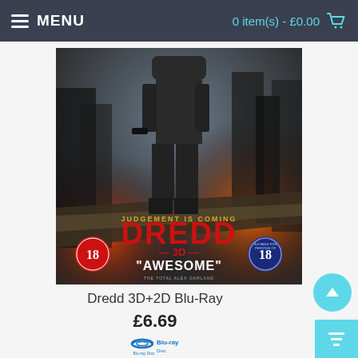MENU    0 item(s) - £0.00
[Figure (photo): Movie poster for Dredd 3D Blu-Ray showing an armored figure standing against a fiery cityscape with text 'JUDGEMENT IS COMING', 'DREDD 3D', '"AWESOME"', and age rating 18 badges on both sides.]
Dredd 3D+2D Blu-Ray
£6.69
[Figure (logo): Blu-ray Disc logo in blue]